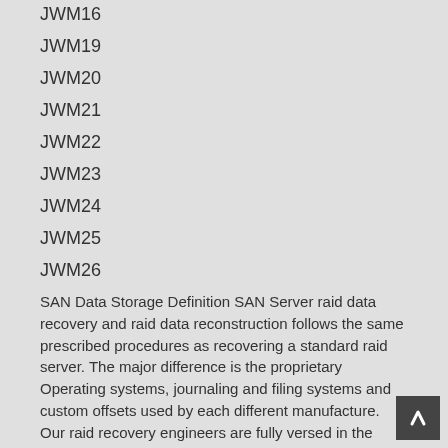JWM16
JWM19
JWM20
JWM21
JWM22
JWM23
JWM24
JWM25
JWM26
SAN Data Storage Definition SAN Server raid data recovery and raid data reconstruction follows the same prescribed procedures as recovering a standard raid server. The major difference is the proprietary Operating systems, journaling and filing systems and custom offsets used by each different manufacture. Our raid recovery engineers are fully versed in the many different SAN system configurations. Our raid data recovery specialist have recovered raid arrays from most SAN Servers including: QNap SAN, Sans Digital SAN, Drobo SAN, Open E SAN Servers, ISCISI San Servers, DS Dapron SAN, Raid, Inc SAN, Spectron SAN Servers, Bright Drive SAN, HP SAN, IBM SAN, Snap SAN, D-L SAN, Fluke SAN Server, EMC SAN, NetWitness SAN, THocus